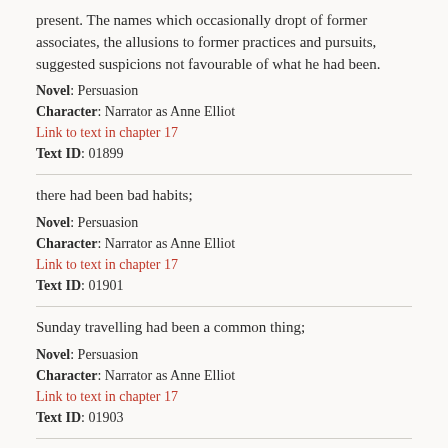present. The names which occasionally dropt of former associates, the allusions to former practices and pursuits, suggested suspicions not favourable of what he had been.
Novel: Persuasion
Character: Narrator as Anne Elliot
Link to text in chapter 17
Text ID: 01899
there had been bad habits;
Novel: Persuasion
Character: Narrator as Anne Elliot
Link to text in chapter 17
Text ID: 01901
Sunday travelling had been a common thing;
Novel: Persuasion
Character: Narrator as Anne Elliot
Link to text in chapter 17
Text ID: 01903
there had been a period of his life (and probably not a short one)